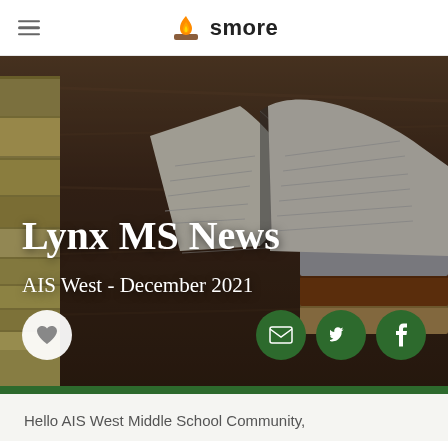smore
[Figure (photo): Hero image showing a stack of books with an open book on top, on a wooden desk surface. Dark brown wood grain background. White text overlaid reads 'Lynx MS News' and 'AIS West - December 2021'. Social sharing buttons (heart, email, Twitter, Facebook) at the bottom of the image.]
Lynx MS News
AIS West - December 2021
Hello AIS West Middle School Community,